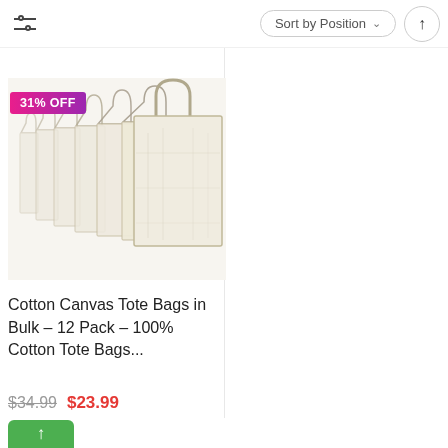[Figure (screenshot): Filter icon with two horizontal lines and circular slider dots, located top-left of toolbar]
Sort by Position
[Figure (other): Sort order toggle button with up arrow]
[Figure (photo): Product photo of multiple cotton canvas tote bags in bulk, cream/natural color, with 31% OFF badge overlay]
31% OFF
Cotton Canvas Tote Bags in Bulk - 12 Pack - 100% Cotton Tote Bags...
$34.99  $23.99